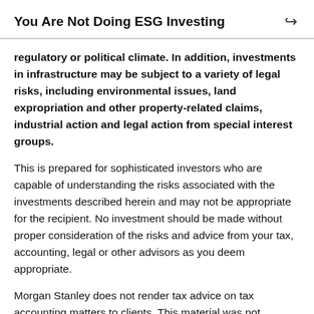You Are Not Doing ESG Investing
regulatory or political climate. In addition, investments in infrastructure may be subject to a variety of legal risks, including environmental issues, land expropriation and other property-related claims, industrial action and legal action from special interest groups.
This is prepared for sophisticated investors who are capable of understanding the risks associated with the investments described herein and may not be appropriate for the recipient. No investment should be made without proper consideration of the risks and advice from your tax, accounting, legal or other advisors as you deem appropriate.
Morgan Stanley does not render tax advice on tax accounting matters to clients. This material was not intended or written to be used, and it cannot be used with any taxpayer, for the purpose of avoiding penalties which